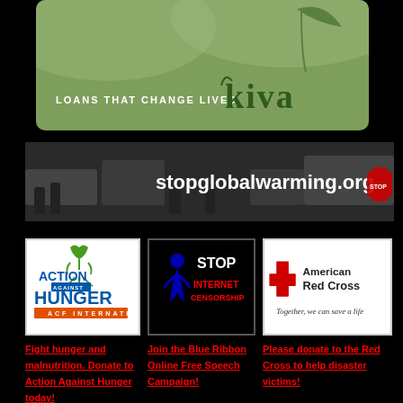[Figure (logo): Kiva microfinance banner with green background, LOANS THAT CHANGE LIVES tagline and Kiva logo with leaf]
[Figure (infographic): stopglobalwarming.org banner with dark urban street scene background and website URL text in white]
[Figure (logo): Action Against Hunger / ACF International logo with blue text and orange bar]
Fight hunger and malnutrition. Donate to Action Against Hunger today!
[Figure (infographic): Stop Internet Censorship banner with dark background, blue figure silhouette, and red text]
Join the Blue Ribbon Online Free Speech Campaign!
[Figure (logo): American Red Cross logo with red cross symbol and Together, we can save a life tagline]
Please donate to the Red Cross to help disaster victims!